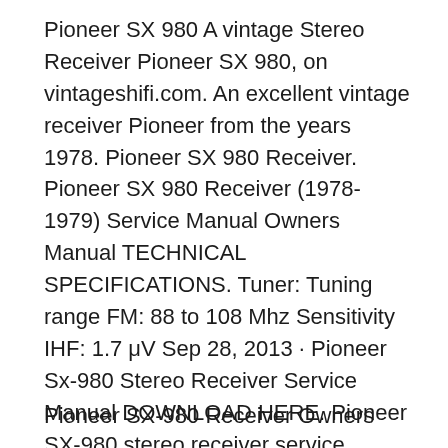Pioneer SX 980 A vintage Stereo Receiver Pioneer SX 980, on vintageshifi.com. An excellent vintage receiver Pioneer from the years 1978. Pioneer SX 980 Receiver. Pioneer SX 980 Receiver (1978-1979) Service Manual Owners Manual TECHNICAL SPECIFICATIONS. Tuner: Tuning range FM: 88 to 108 Mhz Sensitivity IHF: 1.7 μV Sep 28, 2013 · Pioneer Sx-980 Stereo Receiver Service Manual DOWNLOAD HERE. Pioneer SX-980 stereo receiver service manual - specifications -front panel facilities - connection diagram -level diagram ...
Pioneer SX-980 Receiver Owners